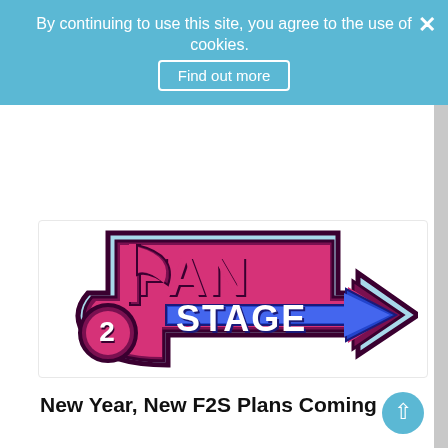By continuing to use this site, you agree to the use of cookies.
Find out more
[Figure (logo): Fan2Stage logo: stylized music note shape with 'FAN' text above and 'STAGE' text on a blue arrow, colors are magenta/pink and blue with dark outline]
New Year, New F2S Plans Coming